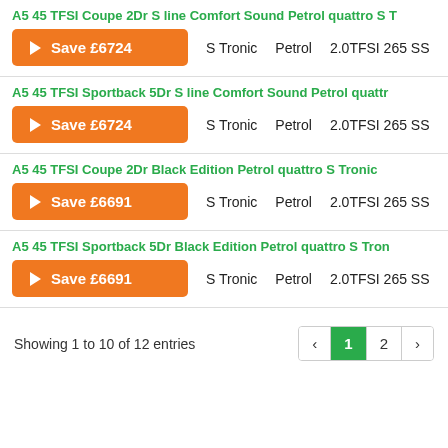A5 45 TFSI Coupe 2Dr S line Comfort Sound Petrol quattro S T
▶ Save £6724    S Tronic    Petrol    2.0TFSI 265 SS    2    2.
A5 45 TFSI Sportback 5Dr S line Comfort Sound Petrol quattr
▶ Save £6724    S Tronic    Petrol    2.0TFSI 265 SS    5    2.
A5 45 TFSI Coupe 2Dr Black Edition Petrol quattro S Tronic
▶ Save £6691    S Tronic    Petrol    2.0TFSI 265 SS    2    2.
A5 45 TFSI Sportback 5Dr Black Edition Petrol quattro S Tron
▶ Save £6691    S Tronic    Petrol    2.0TFSI 265 SS    5    2.
Showing 1 to 10 of 12 entries
‹ 1 2 ›